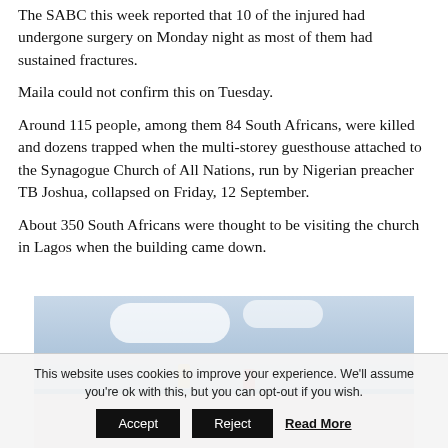The SABC this week reported that 10 of the injured had undergone surgery on Monday night as most of them had sustained fractures.
Maila could not confirm this on Tuesday.
Around 115 people, among them 84 South Africans, were killed and dozens trapped when the multi-storey guesthouse attached to the Synagogue Church of All Nations, run by Nigerian preacher TB Joshua, collapsed on Friday, 12 September.
About 350 South Africans were thought to be visiting the church in Lagos when the building came down.
[Figure (photo): Photo showing workers on top of a collapsed building structure with blue roofing, cloudy sky in background]
This website uses cookies to improve your experience. We'll assume you're ok with this, but you can opt-out if you wish. Accept Reject Read More